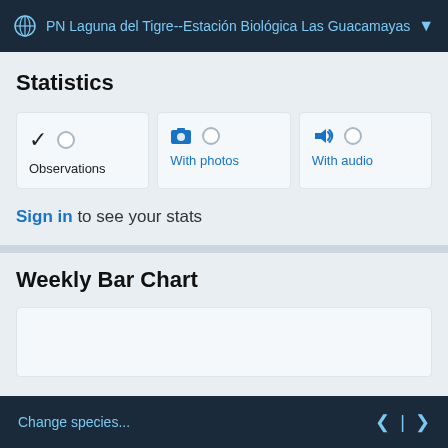PN Laguna del Tigre--Estación Biológica Las Guacamayas
Statistics
Observations
With photos
With audio
Sign in to see your stats
Weekly Bar Chart
Change species...